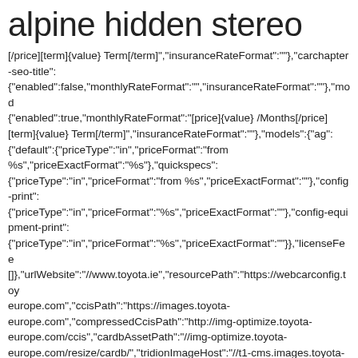alpine hidden stereo
[/price][term]{value} Term[/term]","insuranceRateFormat":""},"carchapter-seo-title": {"enabled":false,"monthlyRateFormat":"","insuranceRateFormat":""},"mod {"enabled":true,"monthlyRateFormat":"[price]{value} /Months[/price] [term]{value} Term[/term]","insuranceRateFormat":""}},"models":{"ag": {"default":{"priceType":"in","priceFormat":"from %s","priceExactFormat":"%s"},"quickspecs": {"priceType":"in","priceFormat":"from %s","priceExactFormat":""},"config-print": {"priceType":"in","priceFormat":"%s","priceExactFormat":""},"config-equipment-print": {"priceType":"in","priceFormat":"%s","priceExactFormat":""}}},"licenseFee []},"urlWebsite":"//www.toyota.ie","resourcePath":"https://webcarconfig.toy europe.com","ccisPath":"https://images.toyota-europe.com","compressedCcisPath":"http://img-optimize.toyota-europe.com/ccis","cardbAssetPath":"//img-optimize.toyota-europe.com/resize/cardb/","tridionImageHost":"//t1-cms.images.toyota-europe.com/toyotaone","pdfService":"https://pdf.toyota-europe.com/generate","culture":{"name":"en-IE","englishName":"English